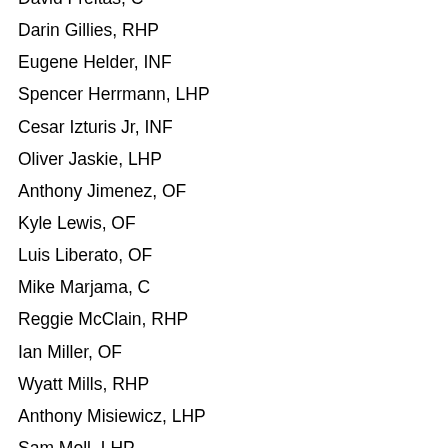David Freitas, C
Darin Gillies, RHP
Eugene Helder, INF
Spencer Herrmann, LHP
Cesar Izturis Jr, INF
Oliver Jaskie, LHP
Anthony Jimenez, OF
Kyle Lewis, OF
Luis Liberato, OF
Mike Marjama, C
Reggie McClain, RHP
Ian Miller, OF
Wyatt Mills, RHP
Anthony Misiewicz, LHP
Sam Moll, LHP
Gareth Morgan, OF